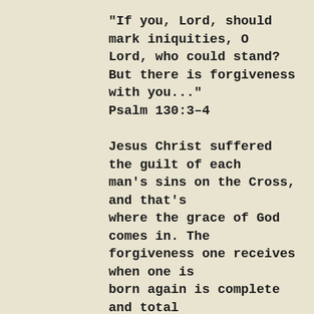"If you, Lord, should mark iniquities, O Lord, who could stand? But there is forgiveness with you..." Psalm 130:3-4
Jesus Christ suffered the guilt of each man's sins on the Cross, and that's where the grace of God comes in. The forgiveness one receives when one is born again is complete and total because Jesus bore the judgment on it – in our place. Jesus paid it ALL.
But though one is forgiven, that doesn't reverse the results of sin. If a woman commits adultery and becomes pregnant, she can be totally forgiven, but there's the baby and her marriage to